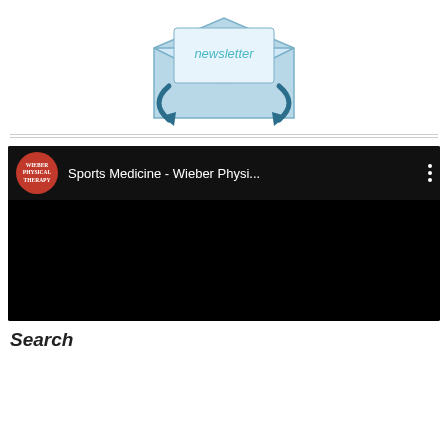[Figure (illustration): Newsletter envelope icon with circular arrows and 'newsletter' text label, in blue tones]
[Figure (screenshot): YouTube-style video player showing 'Sports Medicine - Wieber Physi...' with Wieber Physical Therapy channel logo (red circle) and black video content area with three-dot menu]
Search